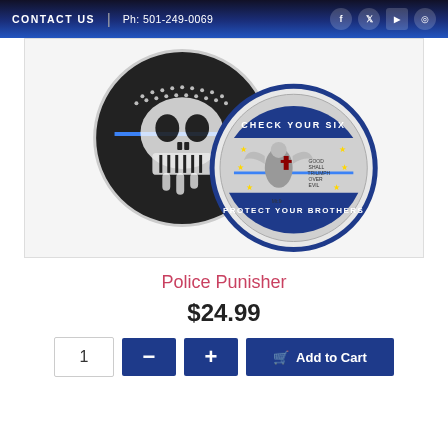CONTACT US  |  Ph: 501-249-0069
[Figure (photo): Two challenge coins: one black coin with Punisher skull and thin blue line American flag design, and one silver/blue coin reading 'CHECK YOUR SIX / PROTECT YOUR BROTHERS' with an angel warrior motif and text 'GOOD SHALL TRIUMPH OVER EVIL']
Police Punisher
$24.99
1  −  +  Add to Cart